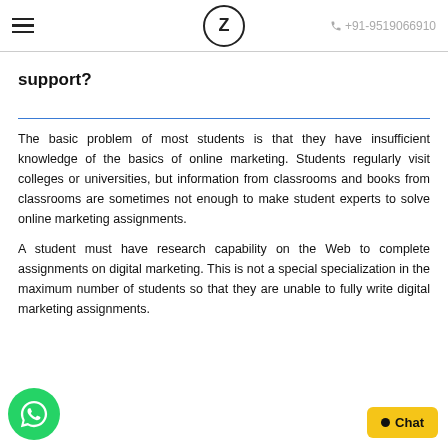≡  Z  +91-9519066910
support?
The basic problem of most students is that they have insufficient knowledge of the basics of online marketing. Students regularly visit colleges or universities, but information from classrooms and books from classrooms are sometimes not enough to make student experts to solve online marketing assignments.
A student must have research capability on the Web to complete assignments on digital marketing. This is not a special specialization in the maximum number of students so that they are unable to fully write digital marketing assignments.